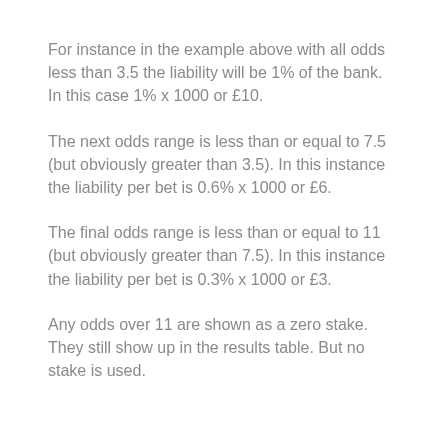For instance in the example above with all odds less than 3.5 the liability will be 1% of the bank. In this case 1% x 1000 or £10.
The next odds range is less than or equal to 7.5 (but obviously greater than 3.5). In this instance the liability per bet is 0.6% x 1000 or £6.
The final odds range is less than or equal to 11 (but obviously greater than 7.5). In this instance the liability per bet is 0.3% x 1000 or £3.
Any odds over 11 are shown as a zero stake. They still show up in the results table. But no stake is used.